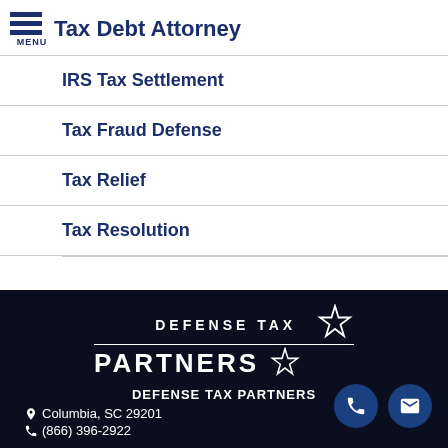Tax Debt Attorney
IRS Tax Settlement
Tax Fraud Defense
Tax Relief
Tax Resolution
DEFENSE TAX PARTNERS | Columbia, SC 29201 | (866) 396-2922